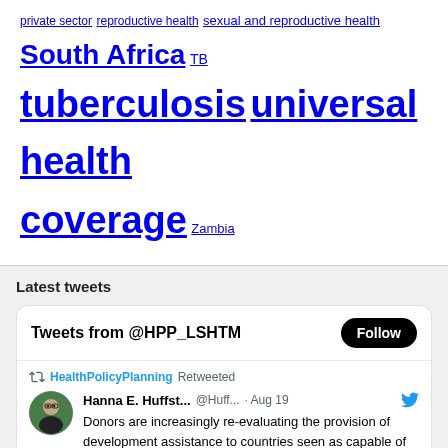private sector reproductive health sexual and reproductive health South Africa TB tuberculosis universal health coverage Zambia
Latest tweets
[Figure (screenshot): Twitter/X widget showing tweets from @HPP_LSHTM with a Follow button, and a retweeted post by Hanna E. Huffst... @Huff... · Aug 19 about donors re-evaluating development assistance and a scoping review by @DukeCPIGH.]